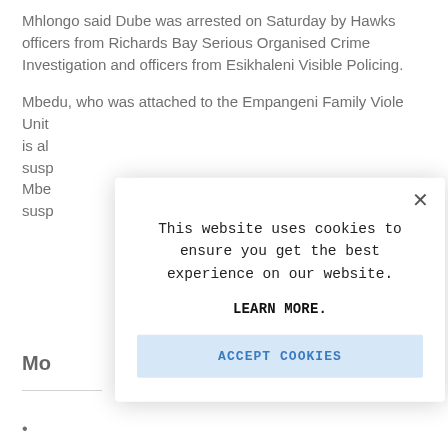Mhlongo said Dube was arrested on Saturday by Hawks officers from Richards Bay Serious Organised Crime Investigation and officers from Esikhaleni Visible Policing.
Mbedu, who was attached to the Empangeni Family Violence Unit is alleged to be a suspect. Mbedu is also suspected of...
Mo...
•
[Figure (screenshot): Cookie consent modal dialog overlay on the webpage. Contains close button (×), message 'This website uses cookies to ensure you get the best experience on our website.', a bold 'LEARN MORE.' link, and a light blue 'ACCEPT COOKIES' button.]